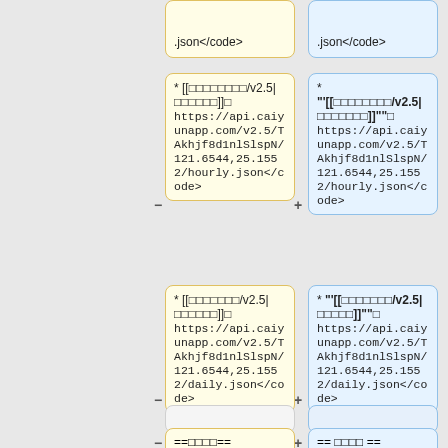.json</code>
.json</code>
* [[□□□□□□□□/v2.5|□□□□□□]]□
<code>https://api.caiyunapp.com/v2.5/TAkhjf8d1nlSlspN/121.6544,25.1552/hourly.json</code>
* "'[[□□□□□□□□/v2.5|□□□□□□□]]""□
<code>https://api.caiyunapp.com/v2.5/TAkhjf8d1nlSlspN/121.6544,25.1552/hourly.json</code>
* [[□□□□□□□/v2.5|□□□□□□]]□
<code>https://api.caiyunapp.com/v2.5/TAkhjf8d1nlSlspN/121.6544,25.1552/daily.json</code>
* "'[[□□□□□□□/v2.5|□□□□□]]""□
<code>https://api.caiyunapp.com/v2.5/TAkhjf8d1nlSlspN/121.6544,25.1552/daily.json</code>
==□□□□==
== □□□□ ==